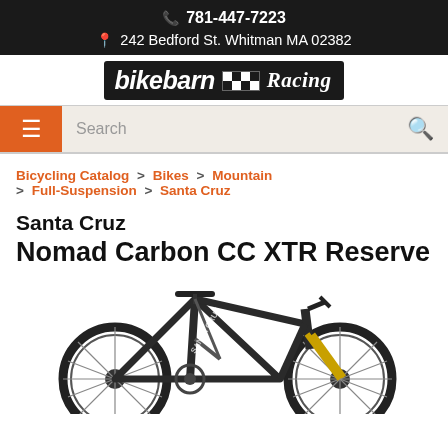781-447-7223
242 Bedford St. Whitman MA 02382
[Figure (logo): Bikebarn Racing logo with checkered flag pattern, white text on black background]
Search
Bicycling Catalog > Bikes > Mountain > Full-Suspension > Santa Cruz
Santa Cruz
Nomad Carbon CC XTR Reserve
[Figure (photo): Santa Cruz Nomad Carbon CC XTR Reserve mountain bike, dark gray/black color, full-suspension, with gold fork]